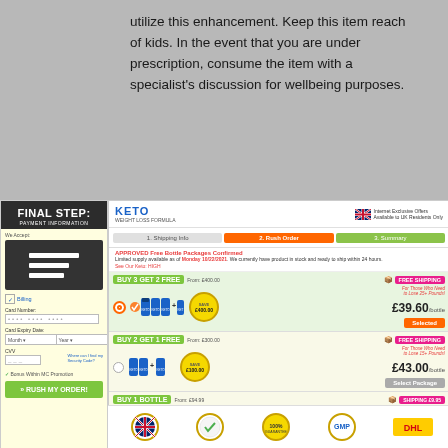utilize this enhancement. Keep this item reach of kids. In the event that you are under prescription, consume the item with a specialist's discussion for wellbeing purposes.
[Figure (screenshot): Keto weight loss supplement e-commerce checkout page showing three package options (Buy 3 Get 2 Free at £39.60, Buy 2 Get 1 Free at £43.00, Buy 1 Bottle at £59.00) with a payment information panel on the right side showing card fields and a Rush My Order button. Trust badges at the bottom including UK flag, guarantee, GMP, and DHL logos.]